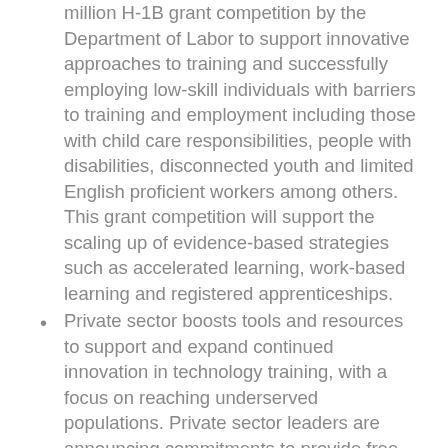million H-1B grant competition by the Department of Labor to support innovative approaches to training and successfully employing low-skill individuals with barriers to training and employment including those with child care responsibilities, people with disabilities, disconnected youth and limited English proficient workers among others. This grant competition will support the scaling up of evidence-based strategies such as accelerated learning, work-based learning and registered apprenticeships.
Private sector boosts tools and resources to support and expand continued innovation in technology training, with a focus on reaching underserved populations. Private sector leaders are announcing commitments to provide free training through online training slots and